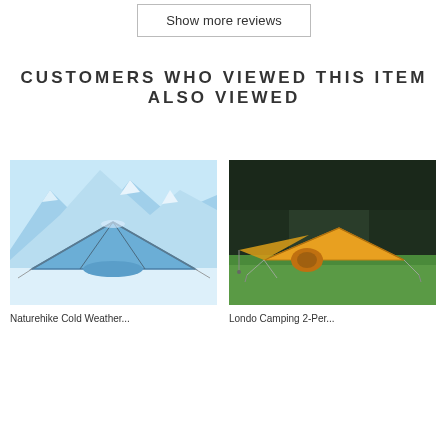Show more reviews
CUSTOMERS WHO VIEWED THIS ITEM ALSO VIEWED
[Figure (photo): Blue dome tent set up in snowy mountain landscape]
[Figure (photo): Yellow/tan camping tent with extended awning set up on green grass]
Product titles below images (partially visible)